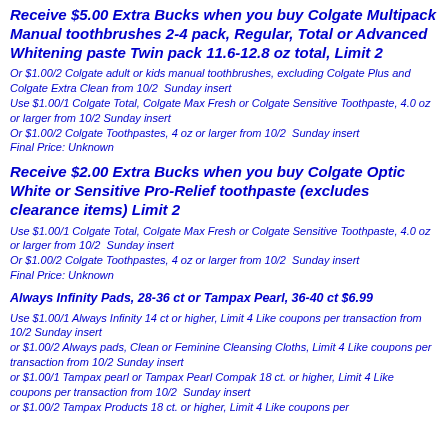Receive $5.00 Extra Bucks when you buy Colgate Multipack Manual toothbrushes 2-4 pack, Regular, Total or Advanced Whitening paste Twin pack 11.6-12.8 oz total, Limit 2
Or $1.00/2 Colgate adult or kids manual toothbrushes, excluding Colgate Plus and Colgate Extra Clean from 10/2  Sunday insert
Use $1.00/1 Colgate Total, Colgate Max Fresh or Colgate Sensitive Toothpaste, 4.0 oz or larger from 10/2 Sunday insert
Or $1.00/2 Colgate Toothpastes, 4 oz or larger from 10/2  Sunday insert
Final Price: Unknown
Receive $2.00 Extra Bucks when you buy Colgate Optic White or Sensitive Pro-Relief toothpaste (excludes clearance items) Limit 2
Use $1.00/1 Colgate Total, Colgate Max Fresh or Colgate Sensitive Toothpaste, 4.0 oz or larger from 10/2  Sunday insert
Or $1.00/2 Colgate Toothpastes, 4 oz or larger from 10/2  Sunday insert
Final Price: Unknown
Always Infinity Pads, 28-36 ct or Tampax Pearl, 36-40 ct $6.99
Use $1.00/1 Always Infinity 14 ct or higher, Limit 4 Like coupons per transaction from 10/2 Sunday insert
or $1.00/2 Always pads, Clean or Feminine Cleansing Cloths, Limit 4 Like coupons per transaction from 10/2 Sunday insert
or $1.00/1 Tampax pearl or Tampax Pearl Compak 18 ct. or higher, Limit 4 Like coupons per transaction from 10/2  Sunday insert
or $1.00/2 Tampax Products 18 ct. or higher, Limit 4 Like coupons per